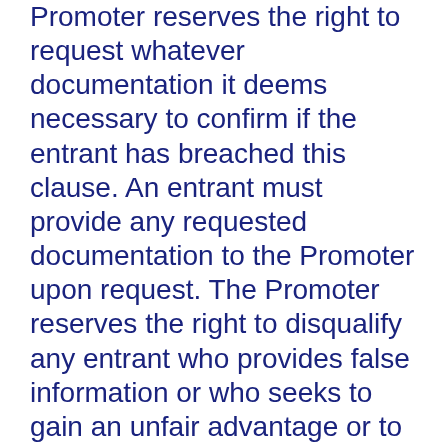Promoter reserves the right to request whatever documentation it deems necessary to confirm if the entrant has breached this clause. An entrant must provide any requested documentation to the Promoter upon request. The Promoter reserves the right to disqualify any entrant who provides false information or who seeks to gain an unfair advantage or to manipulate this competition.
18. Any entrant found to be entering incorrect contact details, including incorrect email contact details, will have all entries invalidated and any claim to any prize will be invalidated. If such an entrant is awarded a prize and then found to have breached this clause, the entrant must immediately return any prize awarded. The Promoter has sole discretion to determine if this clause has been breached by any entrant. The Promoter reserves the right to request